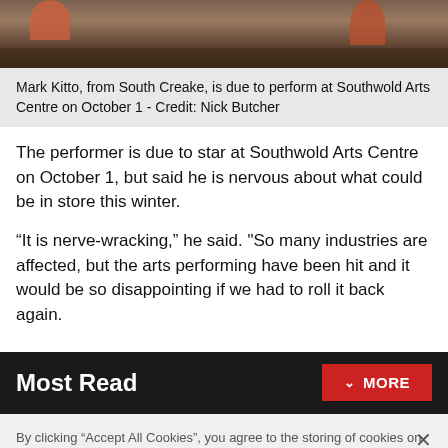[Figure (photo): Top portion of a photo showing plant pots and a doorway exterior, partially cropped]
Mark Kitto, from South Creake, is due to perform at Southwold Arts Centre on October 1 - Credit: Nick Butcher
The performer is due to star at Southwold Arts Centre on October 1, but said he is nervous about what could be in store this winter.
“It is nerve-wracking,” he said. "So many industries are affected, but the arts performing have been hit and it would be so disappointing if we had to roll it back again.
Most Read
By clicking “Accept All Cookies”, you agree to the storing of cookies on your device to enhance site navigation, analyze site usage, and assist in our marketing efforts.